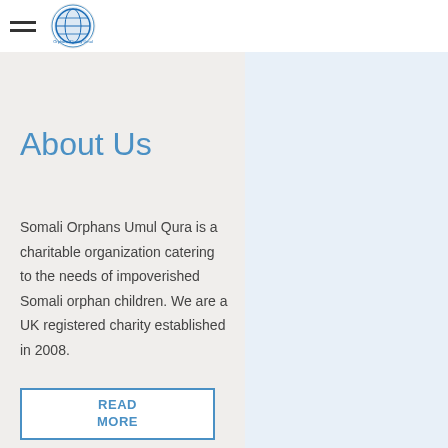Somali Orphans Umul Qura charity website header with hamburger menu and globe logo
[Figure (photo): Exterior photograph of a building, appears to be a charity facility in Somalia]
About Us
Somali Orphans Umul Qura is a charitable organization catering to the needs of impoverished Somali orphan children. We are a UK registered charity established in 2008.
READ MORE